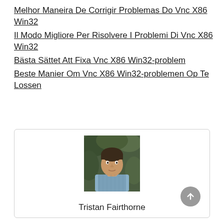Melhor Maneira De Corrigir Problemas Do Vnc X86 Win32
Il Modo Migliore Per Risolvere I Problemi Di Vnc X86 Win32
Bästa Sättet Att Fixa Vnc X86 Win32-problem
Beste Manier Om Vnc X86 Win32-problemen Op Te Lossen
[Figure (photo): Portrait photo of a man with dark hair wearing a blue checked shirt, outdoors with foliage in background. Below the photo is the name Tristan Fairthorne.]